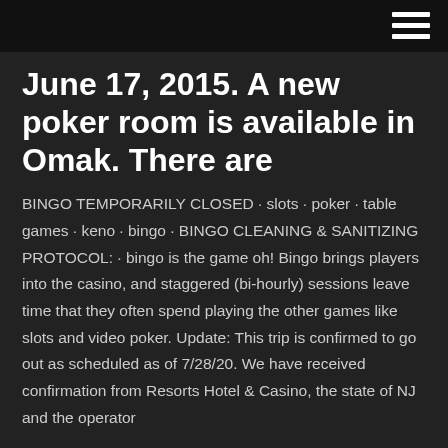June 17, 2015. A new poker room is available in Omak. There are
BINGO TEMPORARILY CLOSED · slots · poker · table games · keno · bingo · BINGO CLEANING & SANITIZING PROTOCOL: · bingo is the game oh! Bingo brings players into the casino, and staggered (bi-hourly) sessions leave time that they often spend playing the other games like slots and video poker. Update: This trip is confirmed to go out as scheduled as of 7/28/20. We have received confirmation from Resorts Hotel & Casino, the state of NJ and the operator
allow for eligible nonprofit organizations to hold “charity poker night” fundraisers. Each nonprofit organization may hold